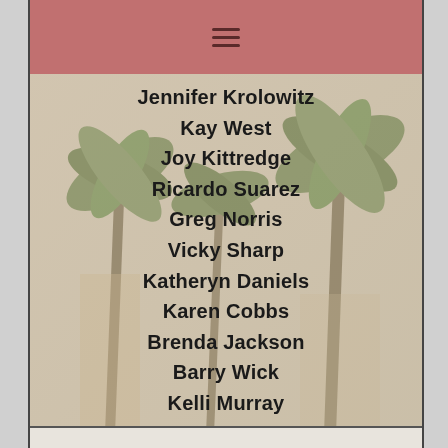☰
Jennifer Krolowitz
Kay West
Joy Kittredge
Ricardo Suarez
Greg Norris
Vicky Sharp
Katheryn Daniels
Karen Cobbs
Brenda Jackson
Barry Wick
Kelli Murray
Cristina Rever
Christina Serra
Heather Simeon
Brittany Hoffmann